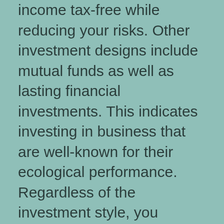income tax-free while reducing your risks. Other investment designs include mutual funds as well as lasting financial investments. This indicates investing in business that are well-known for their ecological performance. Regardless of the investment style, you should take into consideration the threats related to the numerous financial investment strategies.
The longer your investment timespan, the more likely you are to gain the rewards. As an example, if you want to invest a $1,000 in the securities market index fund, the returns might be small in the initial few years, however in the